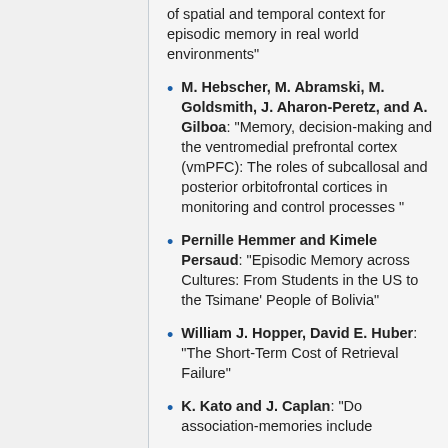of spatial and temporal context for episodic memory in real world environments"
M. Hebscher, M. Abramski, M. Goldsmith, J. Aharon-Peretz, and A. Gilboa: "Memory, decision-making and the ventromedial prefrontal cortex (vmPFC): The roles of subcallosal and posterior orbitofrontal cortices in monitoring and control processes "
Pernille Hemmer and Kimele Persaud: "Episodic Memory across Cultures: From Students in the US to the Tsimane' People of Bolivia"
William J. Hopper, David E. Huber: "The Short-Term Cost of Retrieval Failure"
K. Kato and J. Caplan: "Do association-memories include